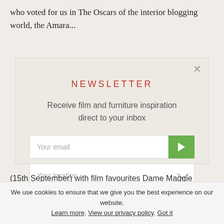who voted for us in The Oscars of the interior blogging world, the Amara...
NEWSLETTER
Receive film and furniture inspiration direct to your inbox
Your email
Your location
Our Privacy Policy
(15th September) with film favourites Dame Maggie
We use cookies to ensure that we give you the best experience on our website. Learn more. View our privacy policy. Got it